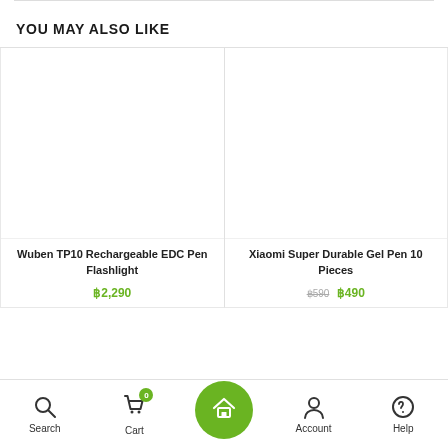YOU MAY ALSO LIKE
[Figure (photo): Product image placeholder for Wuben TP10 Rechargeable EDC Pen Flashlight]
Wuben TP10 Rechargeable EDC Pen Flashlight
฿2,290
[Figure (photo): Product image placeholder for Xiaomi Super Durable Gel Pen 10 Pieces]
Xiaomi Super Durable Gel Pen 10 Pieces
฿590 ฿490
Search   Cart   Home   Account   Help